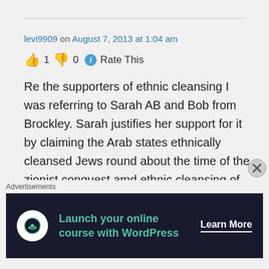levi9909 on August 7, 2013 at 1:04 am
👍 1 👎 0 ℹ Rate This
Re the supporters of ethnic cleansing I was referring to Sarah AB and Bob from Brockley. Sarah justifies her support for it by claiming the Arab states ethnically cleansed Jews round about the time of the zionist conquest amd ethnic cleansing of Palestine. Bob from Brockley claims the ethnic cleansing
Advertisements
[Figure (screenshot): Advertisement banner: 'Launch your online course with WordPress' with Learn More button on dark navy background]